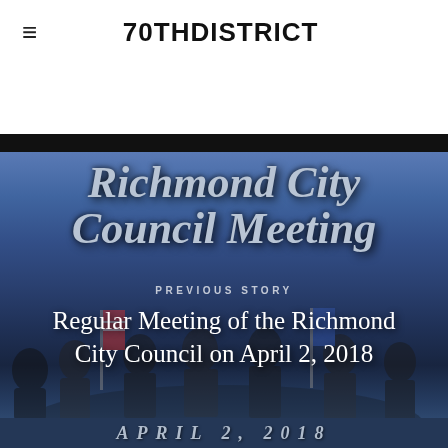70THDISTRICT
[Figure (photo): Richmond City Council meeting room with people gathered, overlaid with large bold italic text reading 'Richmond City Council Meeting', a 'PREVIOUS STORY' label, and a subtitle 'Regular Meeting of the Richmond City Council on April 2, 2018'. Bottom bar shows 'APRIL 2, 2018'.]
Regular Meeting of the Richmond City Council on April 2, 2018